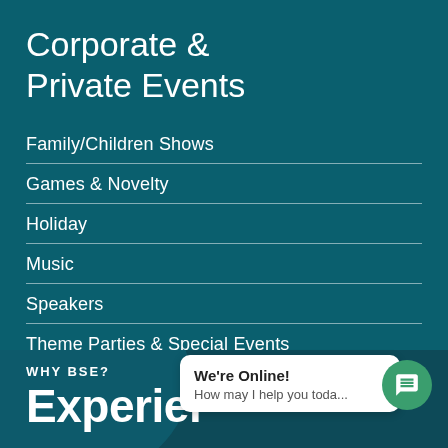Corporate & Private Events
Family/Children Shows
Games & Novelty
Holiday
Music
Speakers
Theme Parties & Special Events
Variety
WHY BSE?
Experience
We're Online!
How may I help you toda...